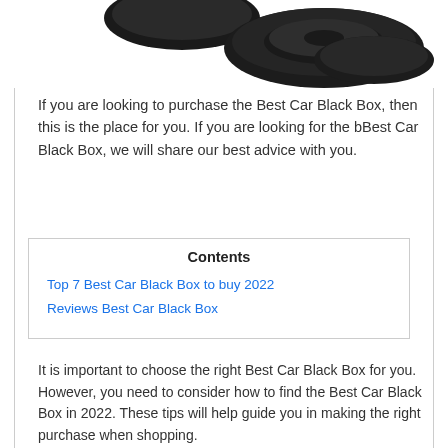[Figure (photo): Product image showing dark/black car black box devices and circular disc-like objects on white background]
If you are looking to purchase the Best Car Black Box, then this is the place for you. If you are looking for the bBest Car Black Box, we will share our best advice with you.
| Contents |
| --- |
| Top 7 Best Car Black Box to buy 2022 |
| Reviews Best Car Black Box |
It is important to choose the right Best Car Black Box for you. However, you need to consider how to find the Best Car Black Box in 2022. These tips will help guide you in making the right purchase when shopping.
These tips will help you make an informed decision when looking for the Best Car Black Box in 2022.